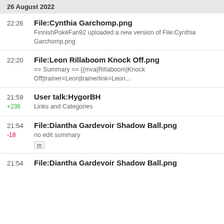26 August 2022
File:Cynthia Garchomp.png
FinnishPokéFan92 uploaded a new version of File:Cynthia Garchomp.png
File:Leon Rillaboom Knock Off.png
== Summary == {{mva|Rillaboom|Knock Off|trainer=Leon|trainerlink=Leon...
User talk:HygorBH
Links and Categories
File:Diantha Gardevoir Shadow Ball.png
no edit summary
m
File:Diantha Gardevoir Shadow Ball.png